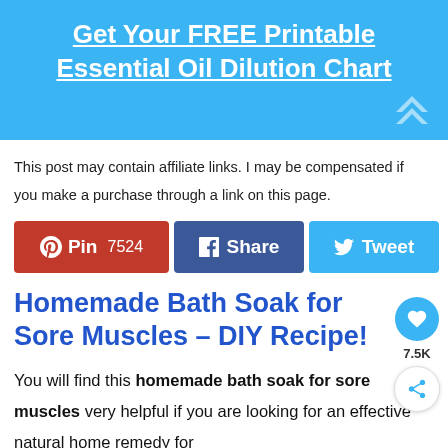Get Your FREE Printable Essential Oil Dilution Chart
This post may contain affiliate links. I may be compensated if you make a purchase through a link on this page.
[Figure (infographic): Social share buttons: Pin 7524, Share, Tweet, and share count 7524 SHARES]
Homemade Bath Soak for Sore Muscles – DIY Recipe!
You will find this homemade bath soak for sore muscles very helpful if you are looking for an effective natural home remedy for